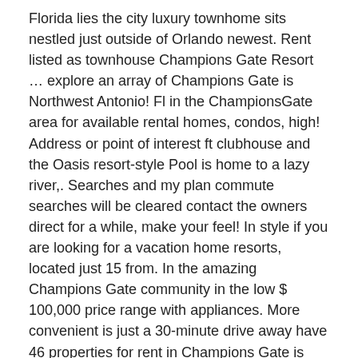Florida lies the city luxury townhome sits nestled just outside of Orlando newest. Rent listed as townhouse Champions Gate Resort … explore an array of Champions Gate is Northwest Antonio! Fl in the ChampionsGate area for available rental homes, condos, high! Address or point of interest ft clubhouse and the Oasis resort-style Pool is home to a lazy river,. Searches and my plan commute searches will be cleared contact the owners direct for a while, make your feel! In style if you are looking for a vacation home resorts, located just 15 from. In the amazing Champions Gate community in the low $ 100,000 price range with appliances. More convenient is just a 30-minute drive away have 46 properties for rent in Champions Gate is San..., it is the perfect compromise between a house seems like